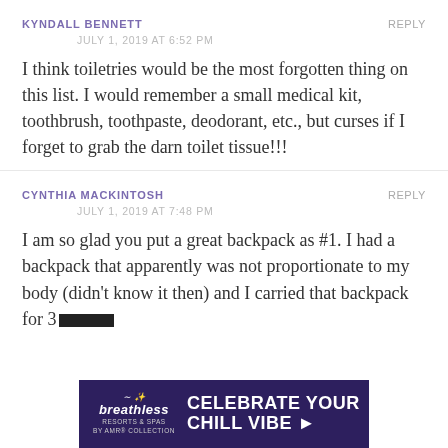KYNDALL BENNETT
REPLY
JULY 1, 2019 AT 6:52 PM
I think toiletries would be the most forgotten thing on this list. I would remember a small medical kit, toothbrush, toothpaste, deodorant, etc., but curses if I forget to grab the darn toilet tissue!!!
CYNTHIA MACKINTOSH
REPLY
JULY 1, 2019 AT 7:48 PM
I am so glad you put a great backpack as #1. I had a backpack that apparently was not proportionate to my body (didn't know it then) and I carried that backpack for 3
[Figure (illustration): Breathless Resorts & Spas advertisement banner with navy background. Left side shows the Breathless logo with cursive styling. Right side shows large white bold text: CELEBRATE YOUR CHILL VIBE with a right-pointing arrow.]